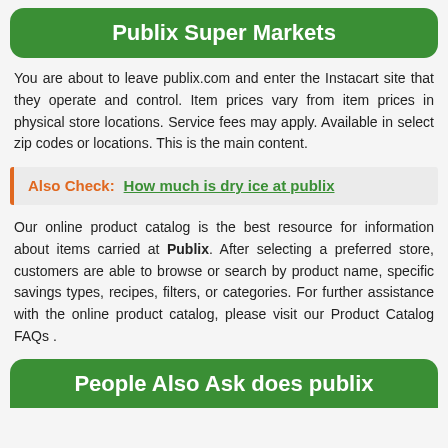Publix Super Markets
You are about to leave publix.com and enter the Instacart site that they operate and control. Item prices vary from item prices in physical store locations. Service fees may apply. Available in select zip codes or locations. This is the main content.
Also Check: How much is dry ice at publix
Our online product catalog is the best resource for information about items carried at Publix. After selecting a preferred store, customers are able to browse or search by product name, specific savings types, recipes, filters, or categories. For further assistance with the online product catalog, please visit our Product Catalog FAQs .
People Also Ask does publix